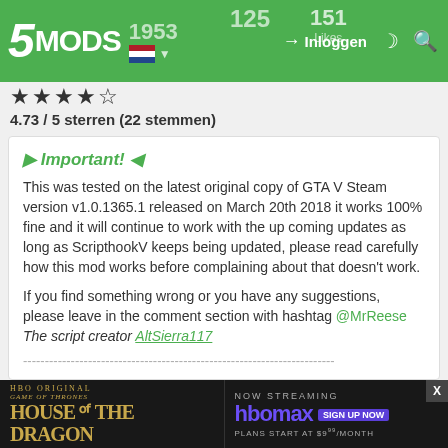5MODS | Inloggen | 1953 | 125 | 151 Likes
4.73 / 5 sterren (22 stemmen)
► Important! ◄
This was tested on the latest original copy of GTA V Steam version v1.0.1365.1 released on March 20th 2018 it works 100% fine and it will continue to work with the up coming updates as long as ScripthookV keeps being updated, please read carefully how this mod works before complaining about that doesn't work.
If you find something wrong or you have any suggestions, please leave in the comment section with hashtag @MrReese
The script creator AltSierra117
------------------------------------------------------------------------
A simple script to enable the snow particles that were missing when Snow mod for Single-Player was enabled with trainer or simple script.
[Figure (screenshot): HBO Max advertisement banner for House of the Dragon - Now Streaming, Plans start at $9.99/month]